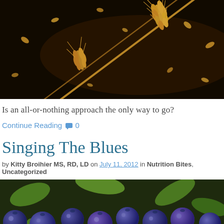[Figure (photo): Close-up of wheat stalks with grain kernels flying against a dark black background]
Is an all-or-nothing approach the only way to go?
Continue Reading 🗨 0
Singing The Blues
by Kitty Broihier MS, RD, LD on July 11, 2012 in Nutrition Bites, Uncategorized
[Figure (photo): Close-up photograph of fresh blueberries with green leaves scattered among them]